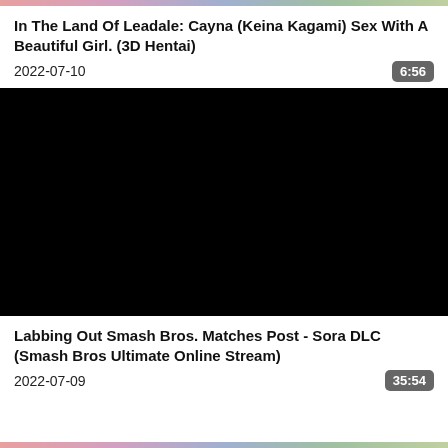In The Land Of Leadale: Cayna (Keina Kagami) Sex With A Beautiful Girl. (3D Hentai)
2022-07-10
6:56
[Figure (screenshot): Black video player thumbnail]
Labbing Out Smash Bros. Matches Post - Sora DLC (Smash Bros Ultimate Online Stream)
2022-07-09
35:54